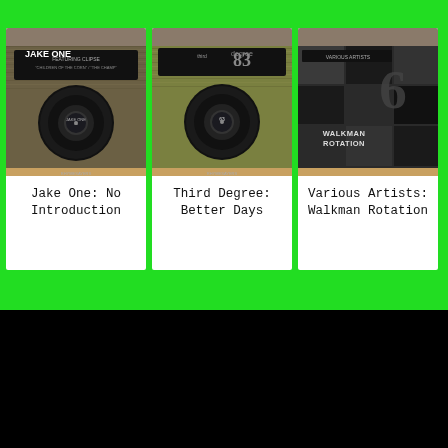[Figure (photo): Album cover for Jake One: No Introduction - vinyl record sleeve with brown/dark texture and Jake One branding]
Jake One: No Introduction
[Figure (photo): Album cover for Third Degree: Better Days - vinyl record sleeve with olive/green texture and Third Degree logo]
Third Degree: Better Days
[Figure (photo): Album cover for Various Artists: Walkman Rotation - dark collage-style cover with Walkman Rotation text]
Various Artists: Walkman Rotation